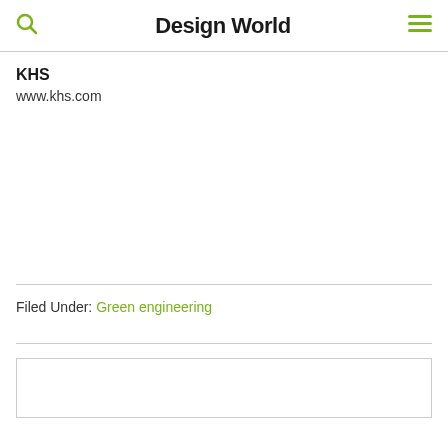Design World
KHS
www.khs.com
Filed Under: Green engineering
[Figure (other): Empty advertisement box]